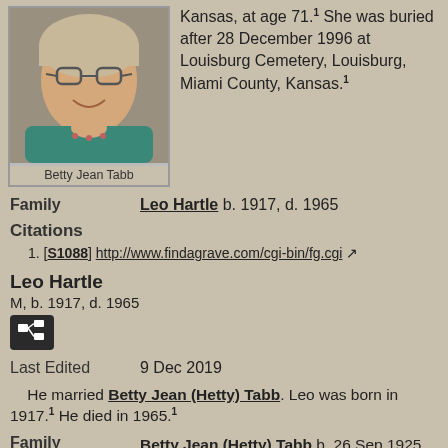[Figure (photo): Portrait photo of Betty Jean Tabb, an older woman with glasses, smiling, wearing a teal cardigan and floral blouse.]
Betty Jean Tabb
Kansas, at age 71.¹ She was buried after 28 December 1996 at Louisburg Cemetery, Louisburg, Miami County, Kansas.¹
Family   Leo Hartle b. 1917, d. 1965
Citations
1. [S1088] http://www.findagrave.com/cgi-bin/fg.cgi ↗
Leo Hartle
M, b. 1917, d. 1965
Last Edited   9 Dec 2019
He married Betty Jean (Hetty) Tabb. Leo was born in 1917.¹ He died in 1965.¹
Family   Betty Jean (Hetty) Tabb b. 26 Sep 1925, d. 28 Dec 1996